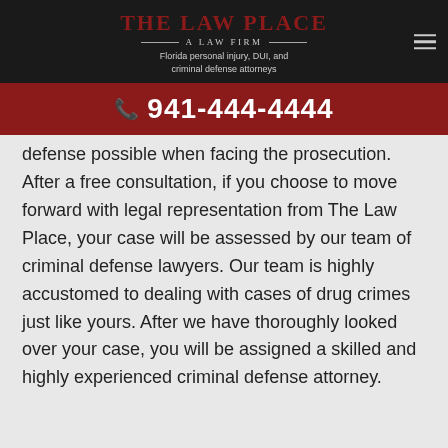[Figure (logo): The Law Place - A Law Firm logo with tagline: Florida personal injury, DUI, and criminal defense attorneys]
941-444-4444
defense possible when facing the prosecution. After a free consultation, if you choose to move forward with legal representation from The Law Place, your case will be assessed by our team of criminal defense lawyers. Our team is highly accustomed to dealing with cases of drug crimes just like yours. After we have thoroughly looked over your case, you will be assigned a skilled and highly experienced criminal defense attorney.